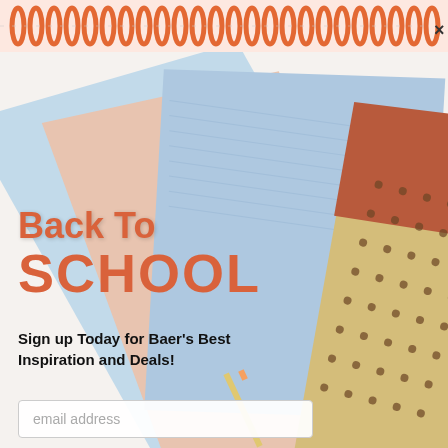[Figure (photo): Back to school promotional popup with spiral-bound notebook image (light blue, peach/pink, tan with dots notebooks fanned out) and orange spiral binding at top. White and orange text overlay with email signup form.]
Back To SCHOOL
Sign up Today for Baer's Best Inspiration and Deals!